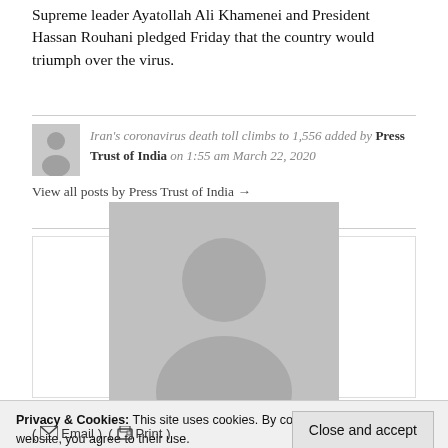Supreme leader Ayatollah Ali Khamenei and President Hassan Rouhani pledged Friday that the country would triumph over the virus.
Iran's coronavirus death toll climbs to 1,556 added by Press Trust of India on 1:55 am March 22, 2020
View all posts by Press Trust of India →
[Figure (photo): Large grey placeholder avatar image of a person silhouette]
Privacy & Cookies: This site uses cookies. By continuing to use this website, you agree to their use.
To find out more, including how to control cookies, see here: Cookie Policy
Close and accept
( Email ) ( Print )